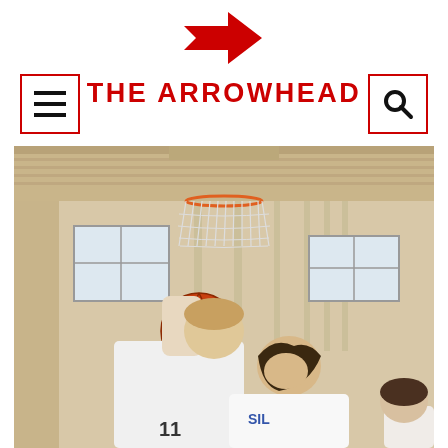[Figure (logo): Red arrow logo pointing right with a notched tail, serving as the publication's logo]
THE ARROWHEAD
[Figure (photo): Basketball game action photo: two young players going for a layup under the basket in a gymnasium. Player wearing jersey #11 has the ball raised up toward the hoop. Another player in a white jersey with 'SIL' visible is looking up at the ball. A basketball hoop with white net is visible at the top of the frame. The gym has wooden paneling, windows, and columns in the background.]